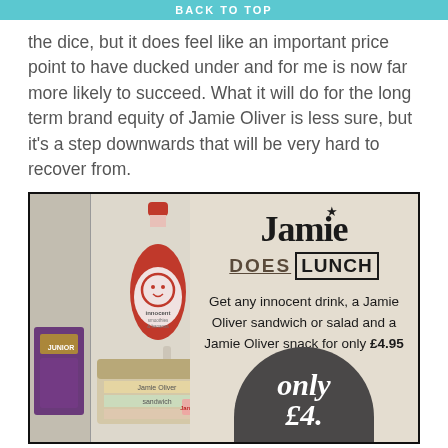BACK TO TOP
the dice, but it does feel like an important price point to have ducked under and for me is now far more likely to succeed. What it will do for the long term brand equity of Jamie Oliver is less sure, but it's a step downwards that will be very hard to recover from.
[Figure (photo): Advertisement for 'Jamie Does Lunch' featuring an Innocent drink bottle, a Jamie Oliver sandwich/salad box, and a circular price badge. Text reads: Get any innocent drink, a Jamie Oliver sandwich or salad and a Jamie Oliver snack for only £4.95. The badge shows 'only £4.95'.]